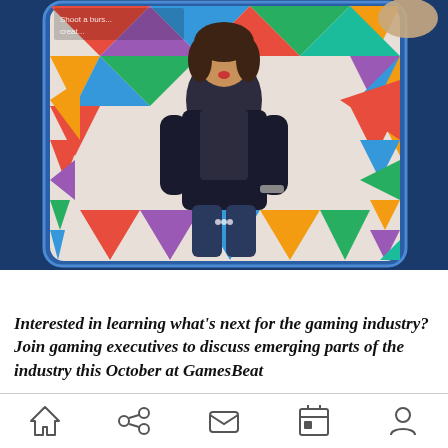[Figure (photo): A smartphone held in a person's hand displaying an app. The screen shows a woman in a dark outfit standing against a colorful geometric triangular pattern background. Small white text in the upper left of the screen reads 'Shoot a burs... creat...']
Boomerang
Interested in learning what's next for the gaming industry? Join gaming executives to discuss emerging parts of the industry this October at GamesBeat
[Figure (infographic): Mobile browser bottom navigation bar with five icons: home, share, mail/envelope, calendar, and person/profile]